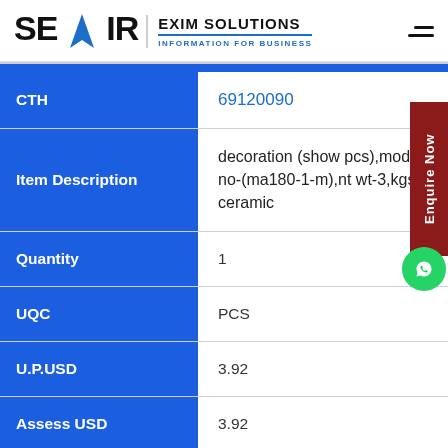[Figure (logo): SEAIR Exim Solutions logo with blue arrow/rocket icon and tagline INFORMATION FOR BUSINESS]
| Field | Value |
| --- | --- |
| CTH | 69120090 |
| Item Description | decoration (show pcs),model no-(ma180-1-m),nt wt-3,kgs ceramic |
| Quantity | 1 |
| UQC | PCS |
| U.P.USD | 3.92 |
| Assess USD | 3.92 |
| COO |  |